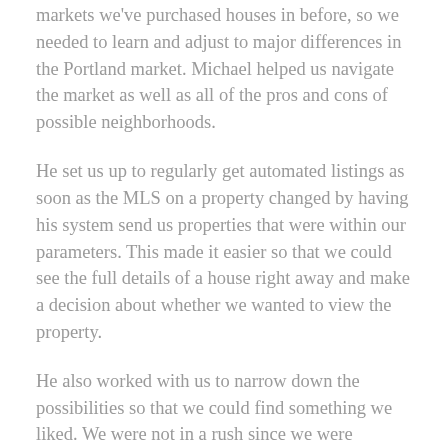markets we've purchased houses in before, so we needed to learn and adjust to major differences in the Portland market. Michael helped us navigate the market as well as all of the pros and cons of possible neighborhoods.
He set us up to regularly get automated listings as soon as the MLS on a property changed by having his system send us properties that were within our parameters. This made it easier so that we could see the full details of a house right away and make a decision about whether we wanted to view the property.
He also worked with us to narrow down the possibilities so that we could find something we liked. We were not in a rush since we were renting, and Michael was very patient over the extended